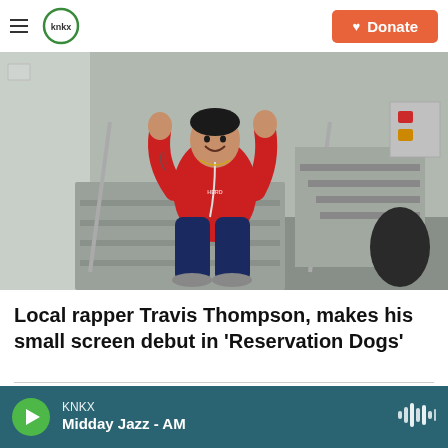KNKX — Donate
[Figure (photo): A young man in a red t-shirt with tattoos sitting on metal steps next to a tour bus/trailer, smiling and making hand gestures, wearing headphones around his neck.]
Local rapper Travis Thompson, makes his small screen debut in 'Reservation Dogs'
Scientists report to...
KNKX — Midday Jazz - AM